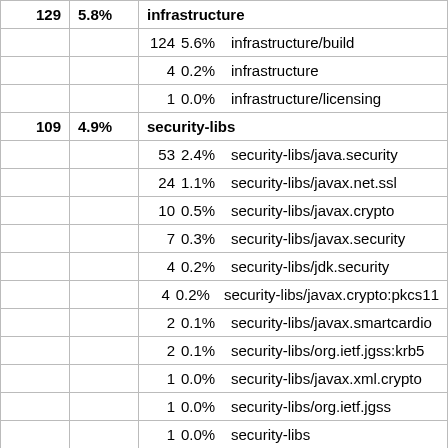| Count | Percent | Name |
| --- | --- | --- |
| 129 | 5.8% | infrastructure |
|  |  | 124	5.6%	infrastructure/build |
|  |  | 4	0.2%	infrastructure |
|  |  | 1	0.0%	infrastructure/licensing |
| 109 | 4.9% | security-libs |
|  |  | 53	2.4%	security-libs/java.security |
|  |  | 24	1.1%	security-libs/javax.net.ssl |
|  |  | 10	0.5%	security-libs/javax.crypto |
|  |  | 7	0.3%	security-libs/javax.security |
|  |  | 4	0.2%	security-libs/jdk.security |
|  |  | 4	0.2%	security-libs/javax.crypto:pkcs11 |
|  |  | 2	0.1%	security-libs/javax.smartcardio |
|  |  | 2	0.1%	security-libs/org.ietf.jgss:krb5 |
|  |  | 1	0.0%	security-libs/javax.xml.crypto |
|  |  | 1	0.0%	security-libs/org.ietf.jgss |
|  |  | 1	0.0%	security-libs |